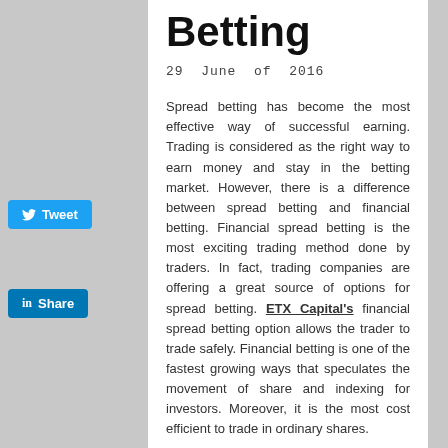Betting
29 June of 2016
Spread betting has become the most effective way of successful earning. Trading is considered as the right way to earn money and stay in the betting market. However, there is a difference between spread betting and financial betting. Financial spread betting is the most exciting trading method done by traders. In fact, trading companies are offering a great source of options for spread betting. ETX Capital's financial spread betting option allows the trader to trade safely. Financial betting is one of the fastest growing ways that speculates the movement of share and indexing for investors. Moreover, it is the most cost efficient to trade in ordinary shares.